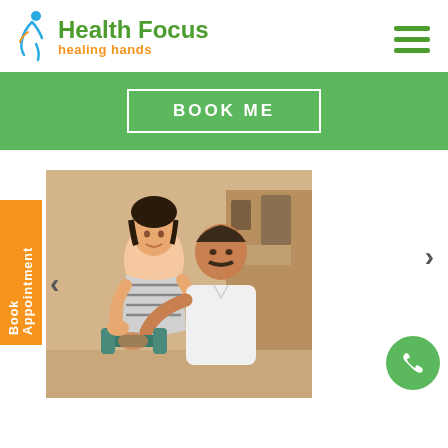[Figure (logo): Health Focus healing hands logo with a figure icon in blue/orange, green text 'Health Focus', orange text 'healing hands']
[Figure (infographic): Green hamburger menu icon (three horizontal green bars)]
[Figure (infographic): Green banner with white-bordered button labeled 'BOOK ME']
[Figure (photo): Photo of a female physiotherapist assisting an older male patient with dumbbell exercise]
Book Appointment
[Figure (infographic): Left carousel arrow '<']
[Figure (infographic): Right carousel arrow '>']
[Figure (infographic): Green circular phone call button with white phone handset icon]